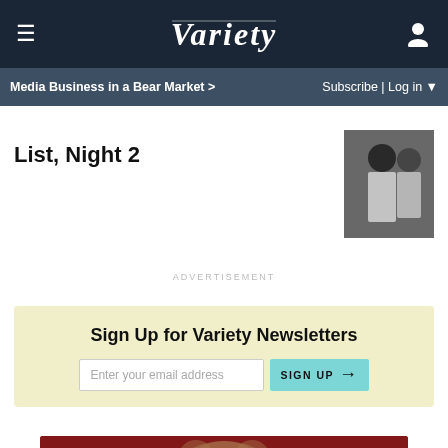Variety
Media Business in a Bear Market >
Subscribe | Log in
List, Night 2
[Figure (photo): Black and white photo of two people, partial crop]
ADVERTISEMENT
Sign Up for Variety Newsletters
Enter your email address  SIGN UP →
[Figure (photo): Red background with illustrated bear or animal figure]